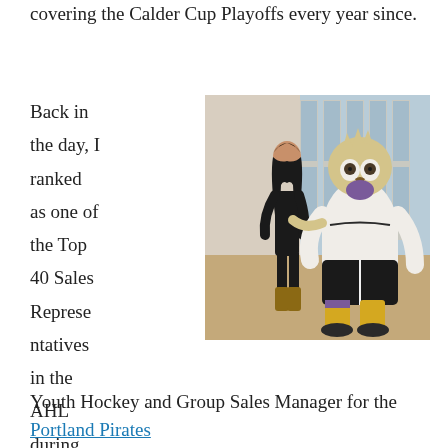covering the Calder Cup Playoffs every year since.
Back in the day, I ranked as one of the Top 40 Sales Representatives in the AHL during my time as the
[Figure (photo): A woman in black clothing posing with a large hockey mascot (owl/bird character in a hockey uniform) in an arena concourse area with large windows.]
Youth Hockey and Group Sales Manager for the Portland Pirates